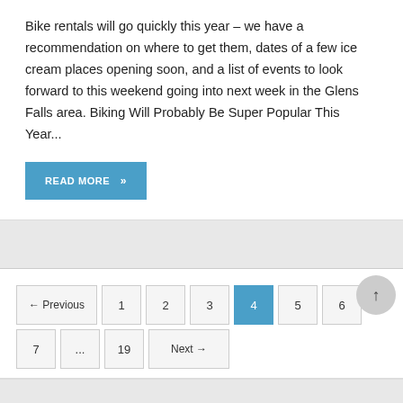Bike rentals will go quickly this year – we have a recommendation on where to get them, dates of a few ice cream places opening soon, and a list of events to look forward to this weekend going into next week in the Glens Falls area. Biking Will Probably Be Super Popular This Year...
READ MORE »
← Previous  1  2  3  4  5  6  7  ...  19  Next →